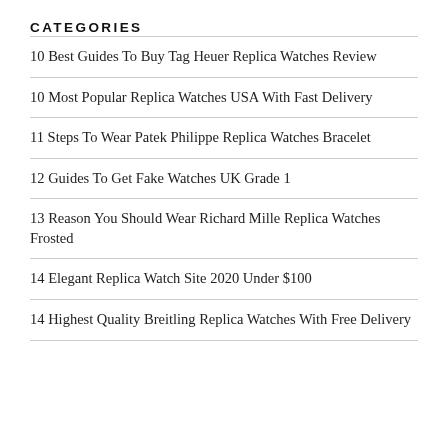CATEGORIES
10 Best Guides To Buy Tag Heuer Replica Watches Review
10 Most Popular Replica Watches USA With Fast Delivery
11 Steps To Wear Patek Philippe Replica Watches Bracelet
12 Guides To Get Fake Watches UK Grade 1
13 Reason You Should Wear Richard Mille Replica Watches Frosted
14 Elegant Replica Watch Site 2020 Under $100
14 Highest Quality Breitling Replica Watches With Free Delivery